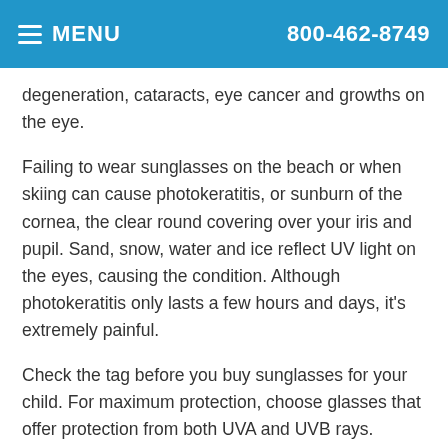MENU  800-462-8749
degeneration, cataracts, eye cancer and growths on the eye.
Failing to wear sunglasses on the beach or when skiing can cause photokeratitis, or sunburn of the cornea, the clear round covering over your iris and pupil. Sand, snow, water and ice reflect UV light on the eyes, causing the condition. Although photokeratitis only lasts a few hours and days, it's extremely painful.
Check the tag before you buy sunglasses for your child. For maximum protection, choose glasses that offer protection from both UVA and UVB rays. Wraparound sunglasses are the best choice, as they offer complete protection for the eyes.